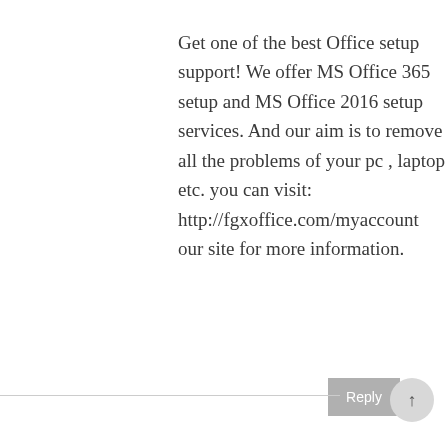Get one of the best Office setup support! We offer MS Office 365 setup and MS Office 2016 setup services. And our aim is to remove all the problems of your pc , laptop etc. you can visit: http://fgxoffice.com/myaccount our site for more information.